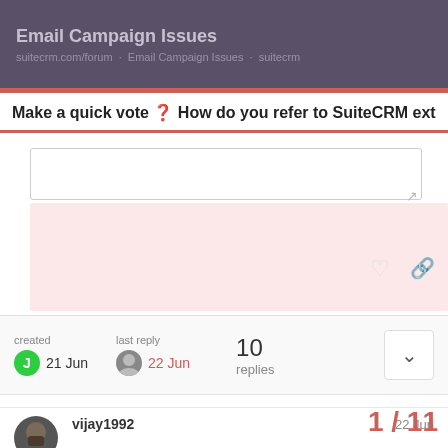Email Campaign Issues
Make a quick vote ? How do you refer to SuiteCRM extensio
created  21 Jun   last reply  22 Jun   10 replies
vijay1992  22 Jun
@JKB16
please check if your “Email campaign Settin” i limit
1 / 11